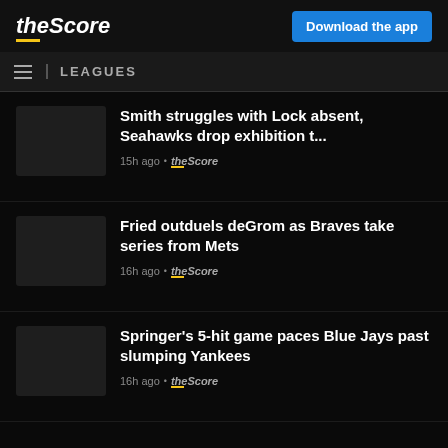theScore — Download the app
LEAGUES
Smith struggles with Lock absent, Seahawks drop exhibition t...
15h ago • theScore
Fried outduels deGrom as Braves take series from Mets
16h ago • theScore
Springer's 5-hit game paces Blue Jays past slumping Yankees
16h ago • theScore